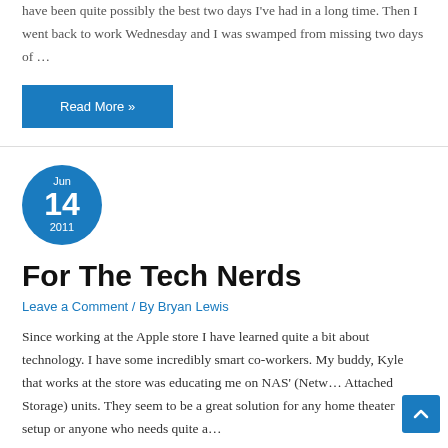have been quite possibly the best two days I've had in a long time. Then I went back to work Wednesday and I was swamped from missing two days of …
Read More »
[Figure (other): Blue circle date badge showing Jun 14 2011]
For The Tech Nerds
Leave a Comment / By Bryan Lewis
Since working at the Apple store I have learned quite a bit about technology. I have some incredibly smart co-workers. My buddy, Kyle that works at the store was educating me on NAS' (Netw… Attached Storage) units. They seem to be a great solution for any home theater setup or anyone who needs quite a…